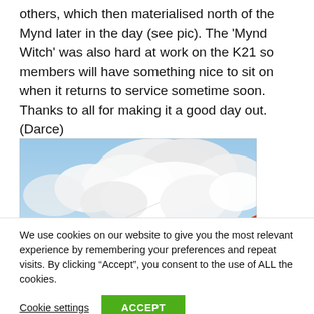others, which then materialised north of the Mynd later in the day (see pic). The 'Mynd Witch' was also hard at work on the K21 so members will have something nice to sit on when it returns to service sometime soon. Thanks to all for making it a good day out. (Darce)
[Figure (photo): Aerial photograph showing a glider wing with orange/red tip against a blue sky with white cumulus clouds below]
We use cookies on our website to give you the most relevant experience by remembering your preferences and repeat visits. By clicking “Accept”, you consent to the use of ALL the cookies.
Cookie settings  ACCEPT